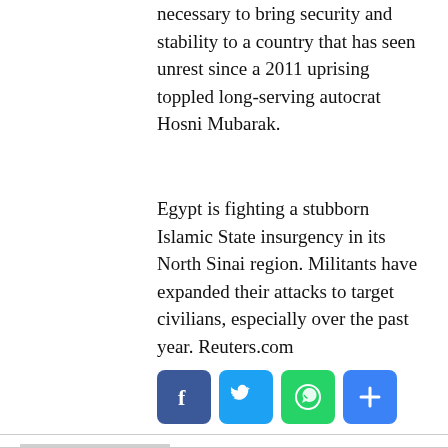necessary to bring security and stability to a country that has seen unrest since a 2011 uprising toppled long-serving autocrat Hosni Mubarak.
Egypt is fighting a stubborn Islamic State insurgency in its North Sinai region. Militants have expanded their attacks to target civilians, especially over the past year. Reuters.com
[Figure (other): Social sharing buttons: Facebook (blue), Twitter (blue), WhatsApp (green), Share/Plus (blue)]
[Figure (photo): Generic avatar placeholder image showing silhouette of a person, grey background]
Abuja Chronicle